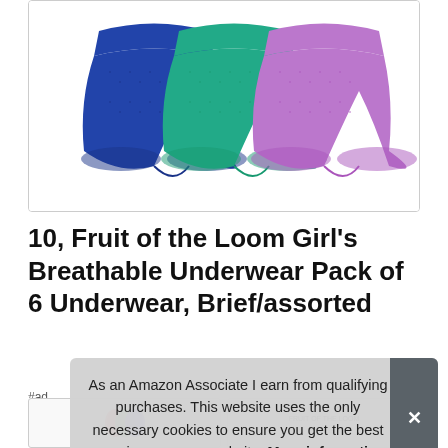[Figure (photo): Three girls' brief underwear in blue, teal/green, and purple/lavender colors, arranged overlapping each other, showing breathable mesh-like fabric texture.]
10, Fruit of the Loom Girl's Breathable Underwear Pack of 6 Underwear, Brief/assorted
#ad
As an Amazon Associate I earn from qualifying purchases. This website uses the only necessary cookies to ensure you get the best experience on our website. More information